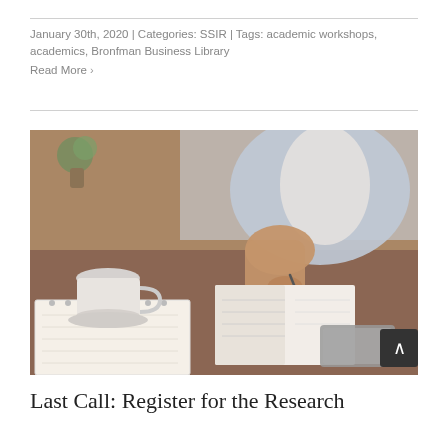January 30th, 2020  |  Categories: SSIR  |  Tags: academic workshops, academics, Bronfman Business Library
Read More >
[Figure (photo): A person writing in a notebook on a wooden desk with a coffee cup, another open notebook, and a smartphone nearby. The person is wearing a light blue cardigan. Warm tones with a slightly blurred background.]
Last Call: Register for the Research